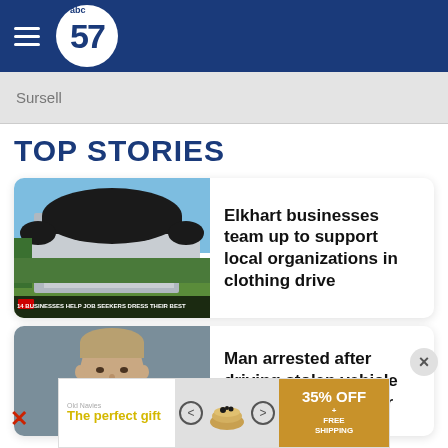abc57
Sursell
TOP STORIES
[Figure (photo): Exterior of a building with dark curved awnings, green lawn, blue sky. Banner reads: 14 BUSINESSES HELP JOB SEEKERS DRESS THEIR BEST]
Elkhart businesses team up to support local organizations in clothing drive
[Figure (photo): Mugshot of a young man with short hair wearing a green shirt, gray background]
Man arrested after driving stolen vehicle into St. Joseph River
[Figure (infographic): Advertisement banner: 'The perfect gift' with food imagery, navigation arrows, and '35% OFF + FREE SHIPPING' gold panel]